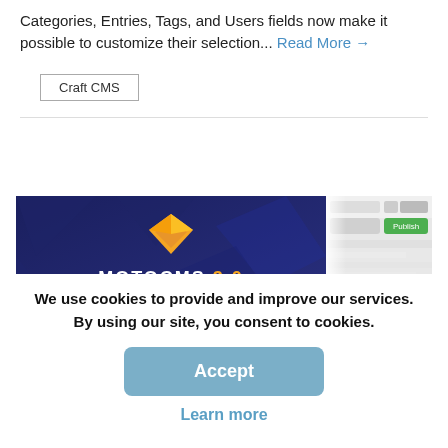Categories, Entries, Tags, and Users fields now make it possible to customize their selection... Read More →
Craft CMS
[Figure (screenshot): MotoCMS 3.0 Coming Right Up!!! promotional banner with logo and interface screenshot]
We use cookies to provide and improve our services. By using our site, you consent to cookies.
Accept
Learn more